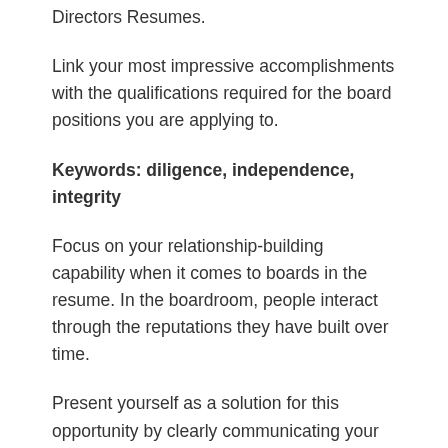Directors Resumes.
Link your most impressive accomplishments with the qualifications required for the board positions you are applying to.
Keywords: diligence, independence, integrity
Focus on your relationship-building capability when it comes to boards in the resume. In the boardroom, people interact through the reputations they have built over time.
Present yourself as a solution for this opportunity by clearly communicating your Board of Directors Resume with the skills that are needed for the board.